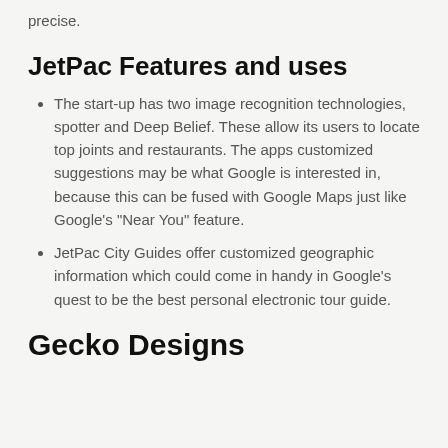precise.
JetPac Features and uses
The start-up has two image recognition technologies, spotter and Deep Belief. These allow its users to locate top joints and restaurants. The apps customized suggestions may be what Google is interested in, because this can be fused with Google Maps just like Google's "Near You" feature.
JetPac City Guides offer customized geographic information which could come in handy in Google's quest to be the best personal electronic tour guide.
Gecko Designs